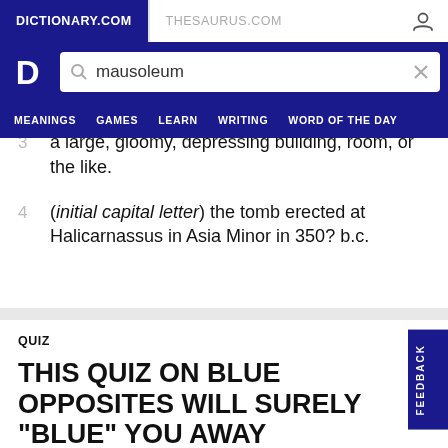DICTIONARY.COM  THESAURUS.COM
3  a large, gloomy, depressing building, room, or the like.
4  (initial capital letter) the tomb erected at Halicarnassus in Asia Minor in 350? b.c.
QUIZ
THIS QUIZ ON BLUE OPPOSITES WILL SURELY "BLUE" YOU AWAY
What do you think the opposite of blue is? See...